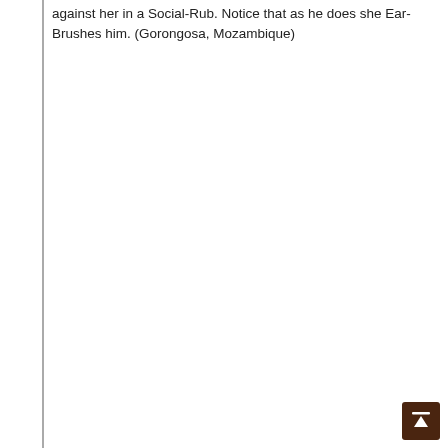against her in a Social-Rub. Notice that as he does she Ear-Brushes him. (Gorongosa, Mozambique)